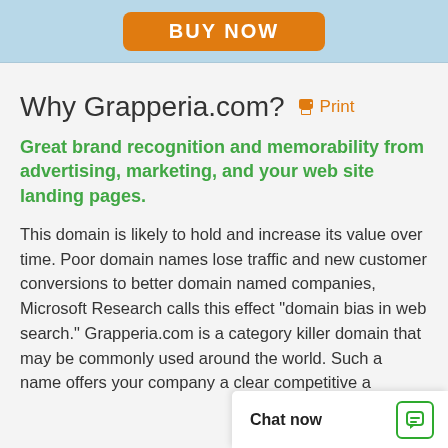[Figure (other): BUY NOW orange button on light blue header bar]
Why Grapperia.com? 🖨 Print
Great brand recognition and memorability from advertising, marketing, and your web site landing pages.
This domain is likely to hold and increase its value over time. Poor domain names lose traffic and new customer conversions to better domain named companies, Microsoft Research calls this effect "domain bias in web search." Grapperia.com is a category killer domain that may be commonly used around the world. Such a name offers your company a clear competitive a…
Chat now